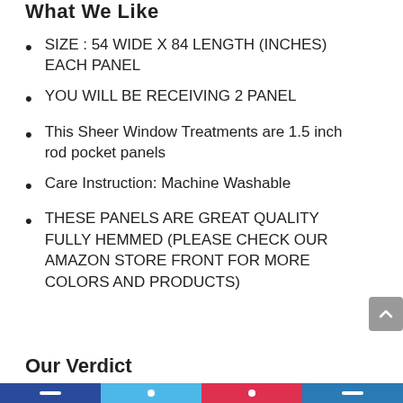What We Like
SIZE : 54 WIDE X 84 LENGTH (INCHES) EACH PANEL
YOU WILL BE RECEIVING 2 PANEL
This Sheer Window Treatments are 1.5 inch rod pocket panels
Care Instruction: Machine Washable
THESE PANELS ARE GREAT QUALITY FULLY HEMMED (PLEASE CHECK OUR AMAZON STORE FRONT FOR MORE COLORS AND PRODUCTS)
Our Verdict